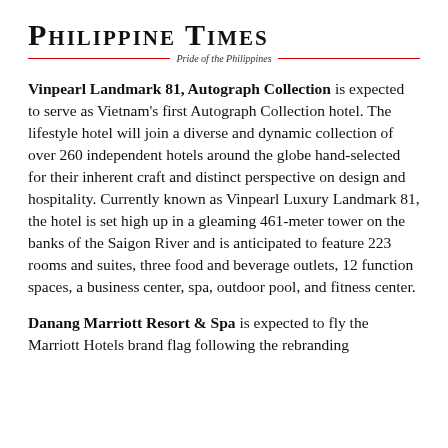Philippine Times — Pride of the Philippines
Vinpearl Landmark 81, Autograph Collection is expected to serve as Vietnam's first Autograph Collection hotel. The lifestyle hotel will join a diverse and dynamic collection of over 260 independent hotels around the globe hand-selected for their inherent craft and distinct perspective on design and hospitality. Currently known as Vinpearl Luxury Landmark 81, the hotel is set high up in a gleaming 461-meter tower on the banks of the Saigon River and is anticipated to feature 223 rooms and suites, three food and beverage outlets, 12 function spaces, a business center, spa, outdoor pool, and fitness center.
Danang Marriott Resort & Spa is expected to fly the Marriott Hotels brand flag following the rebranding...